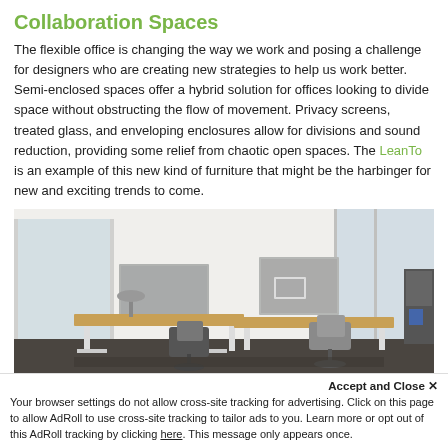Collaboration Spaces
The flexible office is changing the way we work and posing a challenge for designers who are creating new strategies to help us work better. Semi-enclosed spaces offer a hybrid solution for offices looking to divide space without obstructing the flow of movement. Privacy screens, treated glass, and enveloping enclosures allow for divisions and sound reduction, providing some relief from chaotic open spaces. The LeanTo is an example of this new kind of furniture that might be the harbinger for new and exciting trends to come.
[Figure (photo): Office collaboration space with multiple desks, privacy screen dividers, office chairs, laptop/tablet stands, and large windows in the background.]
Accept and Close ×
Your browser settings do not allow cross-site tracking for advertising. Click on this page to allow AdRoll to use cross-site tracking to tailor ads to you. Learn more or opt out of this AdRoll tracking by clicking here. This message only appears once.